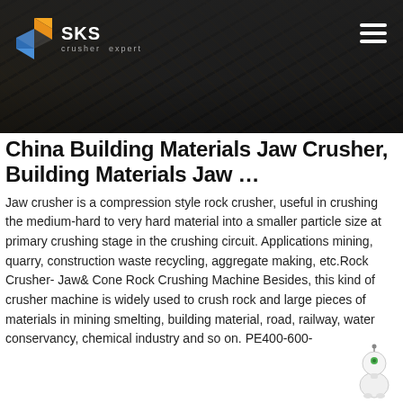[Figure (photo): Dark header banner showing industrial machinery/crusher equipment in the background, with SKS Crusher Expert logo on the left and a hamburger menu icon on the right]
China Building Materials Jaw Crusher, Building Materials Jaw …
Jaw crusher is a compression style rock crusher, useful in crushing the medium-hard to very hard material into a smaller particle size at primary crushing stage in the crushing circuit. Applications mining, quarry, construction waste recycling, aggregate making, etc.Rock Crusher- Jaw& Cone Rock Crushing Machine Besides, this kind of crusher machine is widely used to crush rock and large pieces of materials in mining smelting, building material, road, railway, water conservancy, chemical industry and so on. PE400-600-in China Building Materials Jaw Crusher manufacturers